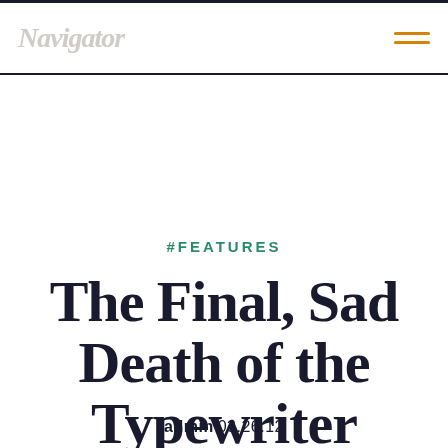Navigator
#FEATURES
The Final, Sad Death of the Typewriter
admin 03.26.12